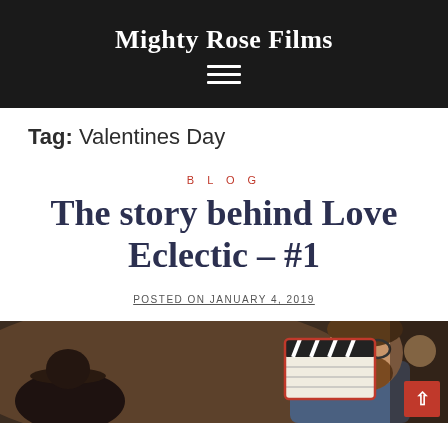Mighty Rose Films
Tag: Valentines Day
BLOG
The story behind Love Eclectic – #1
POSTED ON JANUARY 4, 2019
[Figure (photo): A man with a beard and glasses holding a film clapperboard, photographed indoors in a warmly lit setting]